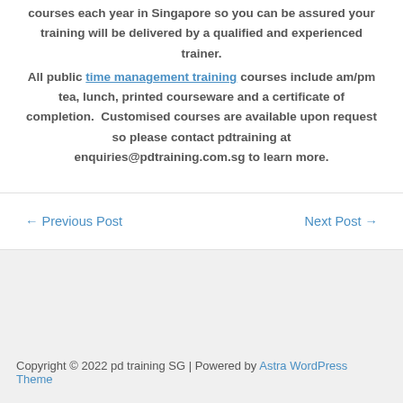courses each year in Singapore so you can be assured your training will be delivered by a qualified and experienced trainer.
All public time management training courses include am/pm tea, lunch, printed courseware and a certificate of completion. Customised courses are available upon request so please contact pdtraining at enquiries@pdtraining.com.sg to learn more.
← Previous Post
Next Post →
Copyright © 2022 pd training SG | Powered by Astra WordPress Theme